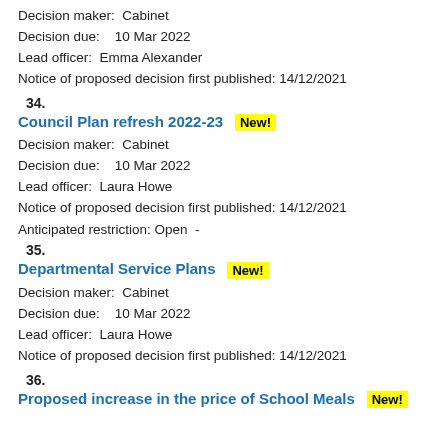Decision maker:  Cabinet
Decision due:   10 Mar 2022
Lead officer:  Emma Alexander
Notice of proposed decision first published: 14/12/2021
34.
Council Plan refresh 2022-23  New!
Decision maker:  Cabinet
Decision due:   10 Mar 2022
Lead officer:  Laura Howe
Notice of proposed decision first published: 14/12/2021
Anticipated restriction: Open  -
35.
Departmental Service Plans  New!
Decision maker:  Cabinet
Decision due:   10 Mar 2022
Lead officer:  Laura Howe
Notice of proposed decision first published: 14/12/2021
36.
Proposed increase in the price of School Meals  New!